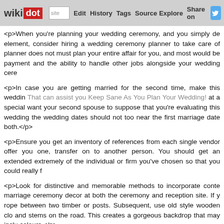wikidot | site | Edit | History | Tags | Source | Explore | Share on [Twitter]
<p>When you're planning your wedding ceremony, and you simply de element, consider hiring a wedding ceremony planner to take care of planner does not must plan your entire affair for you, and most would be payment and the ability to handle other jobs alongside your wedding cere
<p>In case you are getting married for the second time, make this weddin That can assist you Keep Sane As You Plan Your Wedding! at a special want your second spouse to suppose that you're evaluating this wedding the wedding dates should not too near the first marriage date both.</p>
<p>Ensure you get an inventory of references from each single vendor offer you one, transfer on to another person. You should get an extended extremely of the individual or firm you've chosen so that you could really f
<p>Look for distinctive and memorable methods to incorporate conte marriage ceremony decor at both the ceremony and reception site. If y rope between two timber or posts. Subsequent, use old style wooden clo and stems on the road. This creates a gorgeous backdrop that may inclu colours.</p>
<p>Add coloration, texture, and pop to a country or nature-impressed c vintage containers and decor. Enamel pots, watering cans, and tin was ceremony programs, favors, or butter mints. Cleaned, tinted jelly jars charming holders for scented tea lights and votive candles.</p>
<p>If Suggestions To Get The Ideal Wedding Day having an outdoor gotten a backup plan in case of bad weather. Ideally, it is best to also h accessed at a moment's discover. An alternative choice you will have i